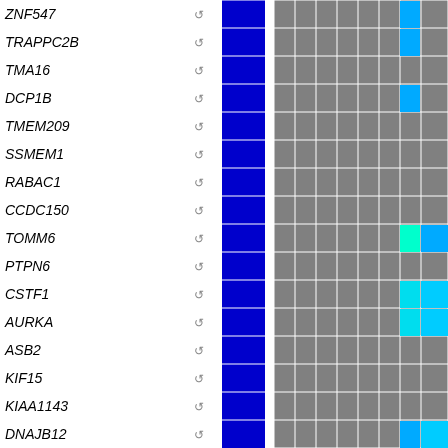[Figure (other): Heatmap grid showing gene expression or interaction data for genes ZNF547, TRAPPC2B, TMA16, DCP1B, TMEM209, SSMEM1, RABAC1, CCDC150, TOMM6, PTPN6, CSTF1, AURKA, ASB2, KIF15, KIAA1143, DNAJB12. Each row has a blue cell in one column and colored cells (cyan, blue) in rightmost columns. Most cells are gray.]